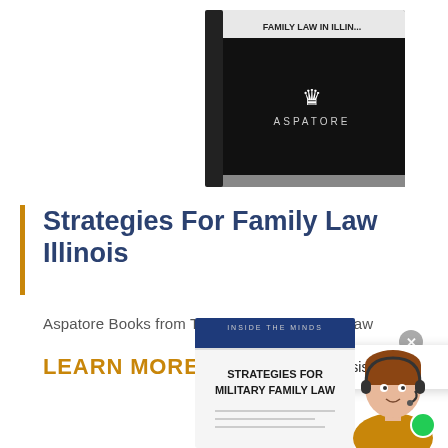[Figure (illustration): Aspatore Books black hardcover book partially visible at top right, titled 'Family Law in Illinois', with a crown logo and ASPATORE branding]
Strategies For Family Law Illinois
Aspatore Books from Thomson Reuters Westlaw
LEARN MORE
[Figure (illustration): Chat assistance popup bubble with text 'Need some assistance?' and close button, with a customer service agent avatar photo and green online indicator dot]
[Figure (illustration): Aspatore book at bottom titled 'Strategies for Military Family Law' with dark blue header band reading 'Inside the Minds']